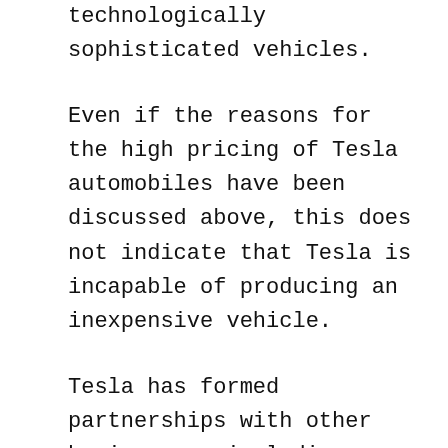technologically sophisticated vehicles.
Even if the reasons for the high pricing of Tesla automobiles have been discussed above, this does not indicate that Tesla is incapable of producing an inexpensive vehicle.
Tesla has formed partnerships with other businesses, including Panasonic and LG, to bring down the price of its batteries. But that wasn't the end of it for them.